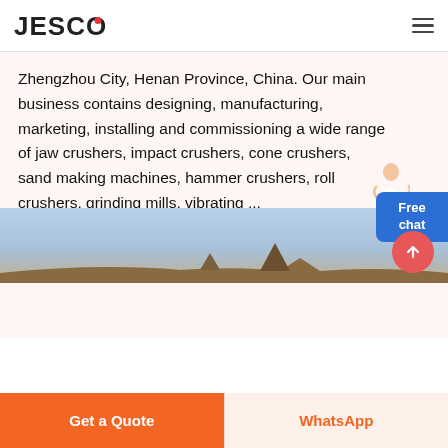[Figure (logo): JESCO logo with red dot between O and text, black bold letters]
Zhengzhou City, Henan Province, China. Our main business contains designing, manufacturing, marketing, installing and commissioning a wide range of jaw crushers, impact crushers, cone crushers, sand making machines, hammer crushers, roll crushers, grinding mills, vibrating ...
READ MORE →
[Figure (photo): Outdoor industrial scene with blue sky and machinery/equipment at bottom]
Get a Quote
WhatsApp